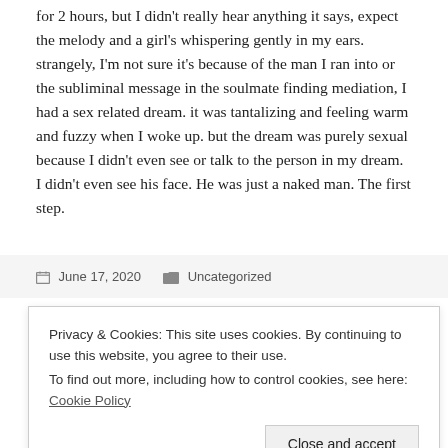for 2 hours, but I didn't really hear anything it says, expect the melody and a girl's whispering gently in my ears. strangely, I'm not sure it's because of the man I ran into or the subliminal message in the soulmate finding mediation, I had a sex related dream. it was tantalizing and feeling warm and fuzzy when I woke up. but the dream was purely sexual because I didn't even see or talk to the person in my dream. I didn't even see his face. He was just a naked man. The first step.
June 17, 2020    Uncategorized
f... f... d...
Privacy & Cookies: This site uses cookies. By continuing to use this website, you agree to their use.
To find out more, including how to control cookies, see here: Cookie Policy
stock market has been extremely irrational since the start of